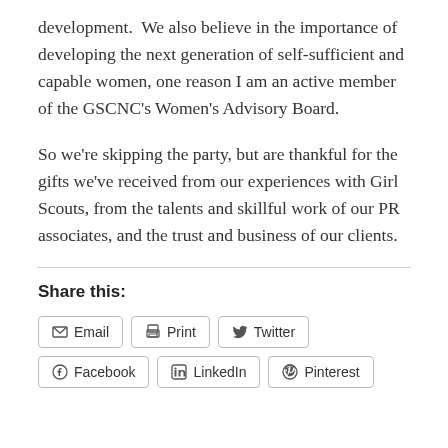development.  We also believe in the importance of developing the next generation of self-sufficient and capable women, one reason I am an active member of the GSCNC's Women's Advisory Board.
So we're skipping the party, but are thankful for the gifts we've received from our experiences with Girl Scouts, from the talents and skillful work of our PR associates, and the trust and business of our clients.
Share this:
Email | Print | Twitter | Facebook | LinkedIn | Pinterest